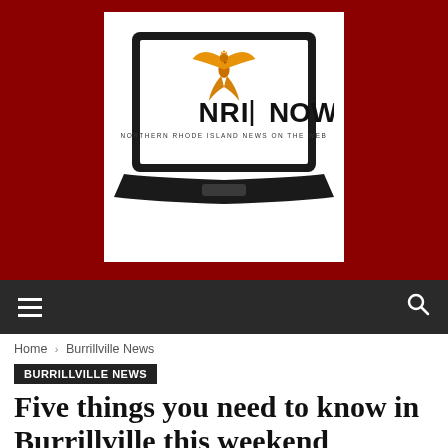[Figure (logo): NRI Now logo — laptop silhouette with phoenix bird and text 'NRI NOW / NORTHERN RHODE ISLAND NEWS ON THE WEB' on white background, set against dark red/maroon banner]
Home › Burrillville News
BURRILLVILLE NEWS
Five things you need to know in Burrillville this weekend
By Sandy Seoane - May 25, 2018   225   0